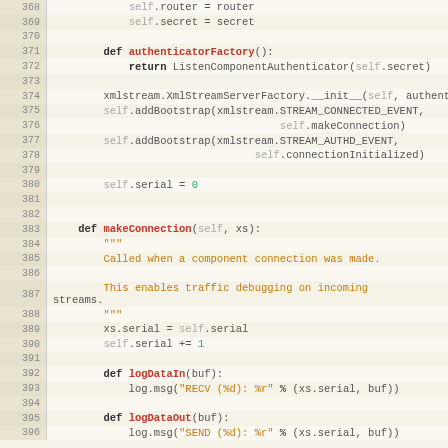[Figure (screenshot): Source code listing in Python, lines 368-396, showing class methods including authenticatorFactory, makeConnection, logDataIn, and logDataOut, with syntax highlighting on a light beige background.]